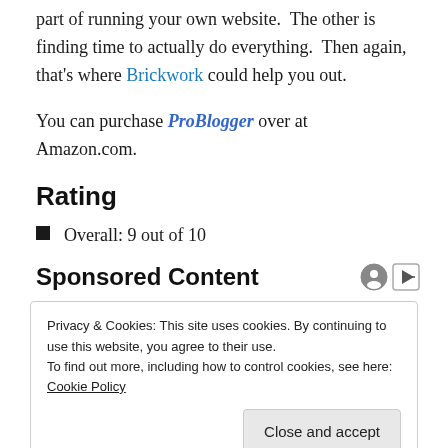part of running your own website.  The other is finding time to actually do everything.  Then again, that's where Brickwork could help you out.
You can purchase ProBlogger over at Amazon.com.
Rating
Overall: 9 out of 10
Sponsored Content
Privacy & Cookies: This site uses cookies. By continuing to use this website, you agree to their use.
To find out more, including how to control cookies, see here: Cookie Policy
[Photos] Meet The Girlfriends